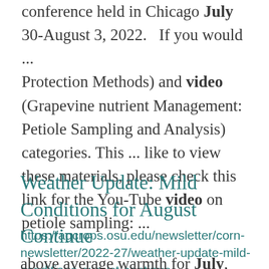conference held in Chicago July 30-August 3, 2022.   If you would ... Protection Methods) and video (Grapevine nutrient Management: Petiole Sampling and Analysis) categories. This ... like to view these materials, please check this link for the You-Tube video on petiole sampling: ...
Weather Update: Mild Conditions for August Continue
https://agcrops.osu.edu/newsletter/corn-newsletter/2022-27/weather-update-mild-conditions-august-continue
above average warmth for July, especially